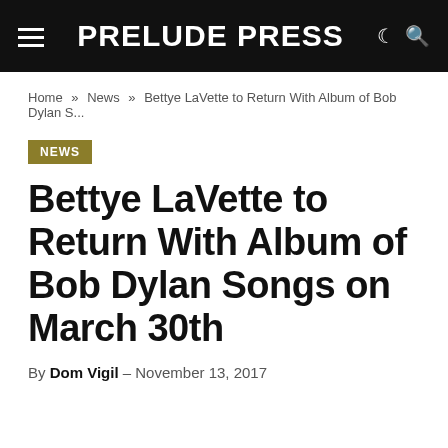PRELUDE PRESS
Home » News » Bettye LaVette to Return With Album of Bob Dylan S...
NEWS
Bettye LaVette to Return With Album of Bob Dylan Songs on March 30th
By Dom Vigil – November 13, 2017